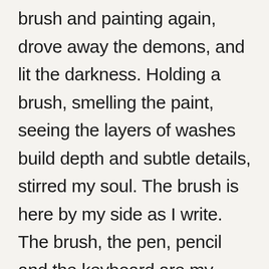brush and painting again, drove away the demons, and lit the darkness. Holding a brush, smelling the paint, seeing the layers of washes build depth and subtle details, stirred my soul. The brush is here by my side as I write. The brush, the pen, pencil and the keyboard are my constant companions. Behind me, scattered across the table I have inks, acrylics,